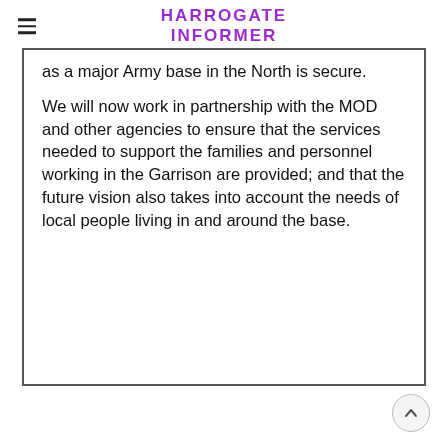HARROGATE INFORMER
as a major Army base in the North is secure.
We will now work in partnership with the MOD and other agencies to ensure that the services needed to support the families and personnel working in the Garrison are provided; and that the future vision also takes into account the needs of local people living in and around the base.